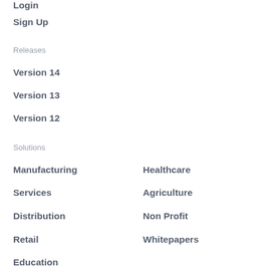Login
Sign Up
Releases
Version 14
Version 13
Version 12
Solutions
Manufacturing
Healthcare
Services
Agriculture
Distribution
Non Profit
Retail
Whitepapers
Education
ERPNext